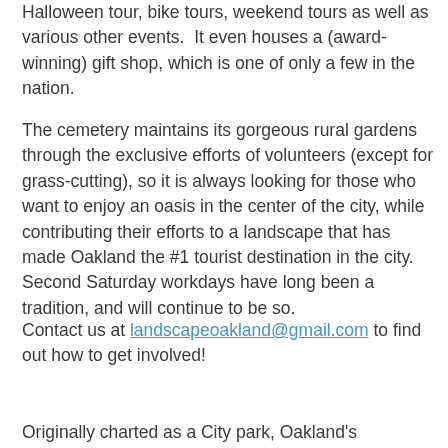Halloween tour, bike tours, weekend tours as well as various other events.  It even houses a (award-winning) gift shop, which is one of only a few in the nation.
The cemetery maintains its gorgeous rural gardens through the exclusive efforts of volunteers (except for grass-cutting), so it is always looking for those who want to enjoy an oasis in the center of the city, while contributing their efforts to a landscape that has made Oakland the #1 tourist destination in the city.  Second Saturday workdays have long been a tradition, and will continue to be so.
Contact us at landscapeoakland@gmail.com to find out how to get involved!
Originally charted as a City park, Oakland's